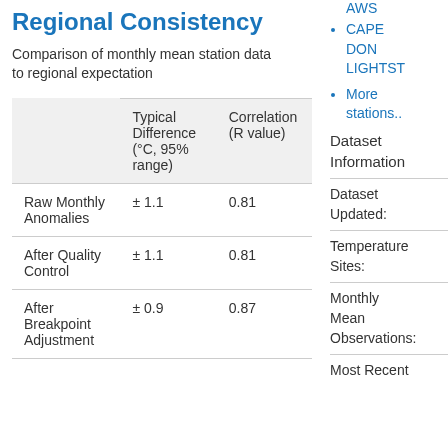AWS
CAPE DON LIGHTST
More stations..
Regional Consistency
Comparison of monthly mean station data to regional expectation
|  | Typical Difference (°C, 95% range) | Correlation (R value) |
| --- | --- | --- |
| Raw Monthly Anomalies | ± 1.1 | 0.81 |
| After Quality Control | ± 1.1 | 0.81 |
| After Breakpoint Adjustment | ± 0.9 | 0.87 |
Dataset Information
Dataset Updated:
Temperature Sites:
Monthly Mean Observations:
Most Recent